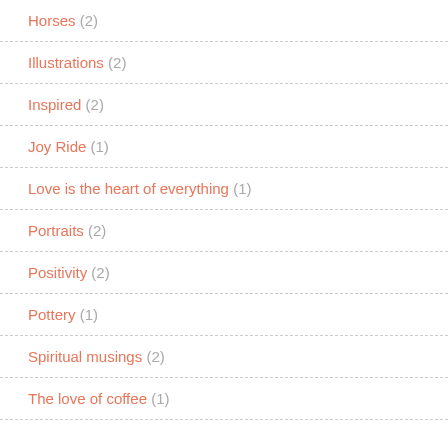Horses (2)
Illustrations (2)
Inspired (2)
Joy Ride (1)
Love is the heart of everything (1)
Portraits (2)
Positivity (2)
Pottery (1)
Spiritual musings (2)
The love of coffee (1)